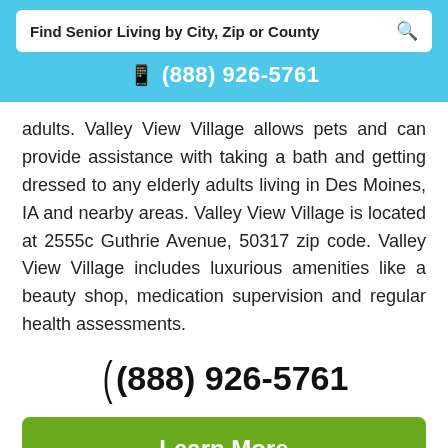Find Senior Living by City, Zip or County
(888) 926-5761
adults. Valley View Village allows pets and can provide assistance with taking a bath and getting dressed to any elderly adults living in Des Moines, IA and nearby areas. Valley View Village is located at 2555c Guthrie Avenue, 50317 zip code. Valley View Village includes luxurious amenities like a beauty shop, medication supervision and regular health assessments.
(888) 926-5761
Learn More